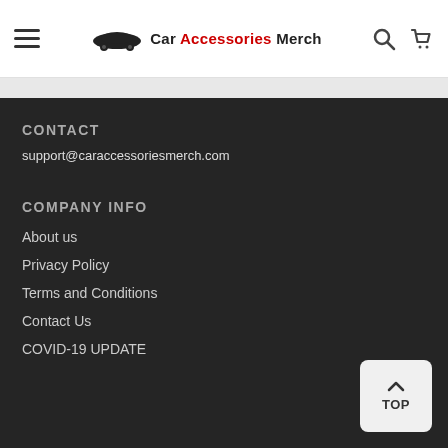Car Accessories Merch
CONTACT
support@caraccessoriesmerch.com
COMPANY INFO
About us
Privacy Policy
Terms and Conditions
Contact Us
COVID-19 UPDATE